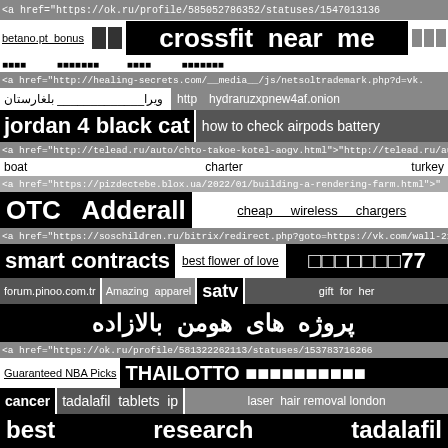<a href="https://ok.ru/profile/585052786352/statuses/154701313636...
betano.pt bonus | crossfit near me
[non-latin characters row]
<a href="http://healing-secrets.com/__media__/js/netsoltrademark.php?d=vk...
ویرا بلغارستان | http hydraruzxpnew4af.onion
jordan 4 black cat | how to check airpods battery
<a href="http://telead.ru/auto/chto-takoe-kotel-aogv.html">"http://telead.ru/aut...
boat charter turkey
<a href="https://pizdectebe.blox.ua/2022/01/building-a-rendering-farm.html">"...
OTC Adderall | cheap wireless chargers
<a href="https://soschildren.ru/bitrix/redirect.php?goto=https://vk.com/wall-214...
smart contracts | best flower of love | [non-latin]77
forum.pinoo.com.tr | Amazing apparel | satv | gift for her
پروژه های هومن بالازاده
<a href="https://ok.ru/profile/581322262113/statuses/153783716266...
Guaranteed NBA Picks | THAILOTTO [non-latin]
cancer | tadalafil tablets ip | laser hair removal london
best research tadalafil
pharmaceutical wholesalers distributors
christliche Aufkleber & Sticker